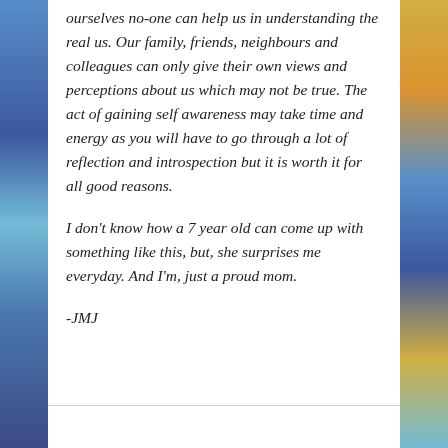ourselves no-one can help us in understanding the real us. Our family, friends, neighbours and colleagues can only give their own views and perceptions about us which may not be true. The act of gaining self awareness may take time and energy as you will have to go through a lot of reflection and introspection but it is worth it for all good reasons.
I don't know how a 7 year old can come up with something like this, but, she surprises me everyday. And I'm, just a proud mom.
-JMJ